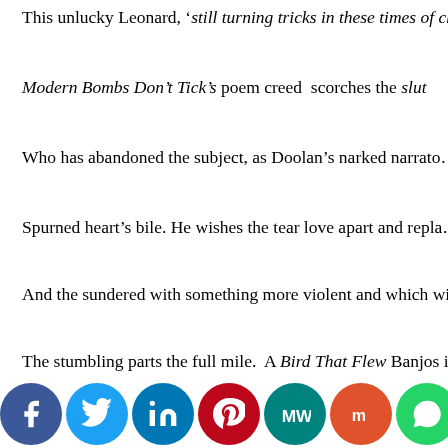This unlucky Leonard, ‘still turning tricks in these times of ch…
Modern Bombs Don’t Tick’s poem creed  scorches the slut
Who has abandoned the subject, as Doolan’s narked narrato…
Spurned heart’s bile. He wishes the tear love apart and repla…
And the sundered with something more violent and which wil…
The stumbling parts the full mile.  A Bird That Flew Banjos in…
Thanks to Conor O Malley. Doolan and his consorts, sparkle
Lyle Zimmerman’s Mandolin revives the folk in the fucking
That grinds through the gristle that each empowered song
[Figure (infographic): Social sharing buttons row: Facebook, Twitter, LinkedIn, Pinterest, MeWe, Mix, WhatsApp, Share]